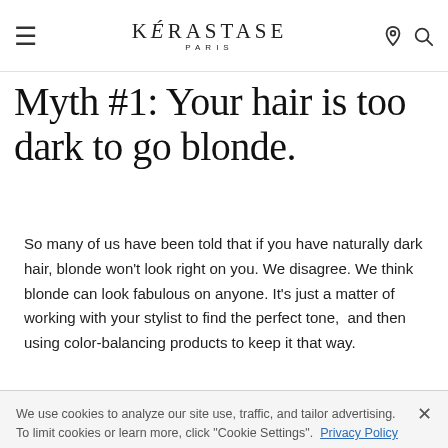KÉRASTASE PARIS
Myth #1: Your hair is too dark to go blonde.
So many of us have been told that if you have naturally dark hair, blonde won't look right on you. We disagree. We think blonde can look fabulous on anyone. It's just a matter of working with your stylist to find the perfect tone, and then using color-balancing products to keep it that way.
We use cookies to analyze our site use, traffic, and tailor advertising. To limit cookies or learn more, click "Cookie Settings". Privacy Policy
Cookie Settings